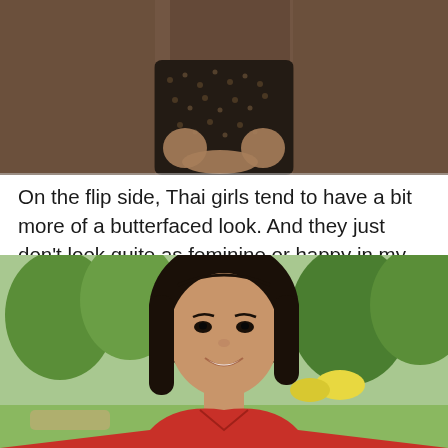[Figure (photo): Top portion of a woman in a patterned dress, seated, showing torso and hands, warm brown studio background]
On the flip side, Thai girls tend to have a bit more of a butterfaced look. And they just don't look quite as feminine or happy in my opinion. But that doesn't make them ugly.
[Figure (photo): Portrait of a smiling Thai woman with long dark hair, wearing a red top, photographed outdoors with green trees and park in the background]